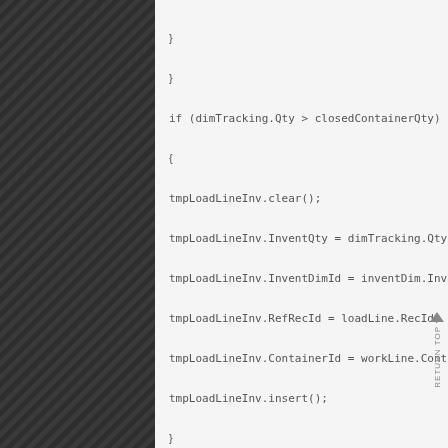}
}
if (dimTracking.Qty > closedContainerQty)
{
tmpLoadLineInv.clear();
tmpLoadLineInv.InventQty = dimTracking.Qty – close
tmpLoadLineInv.InventDimId = inventDim.InventDimI
tmpLoadLineInv.RefRecId = loadLine.RecId;
tmpLoadLineInv.ContainerId = workLine.ContainerId;
tmpLoadLineInv.insert();
}
}